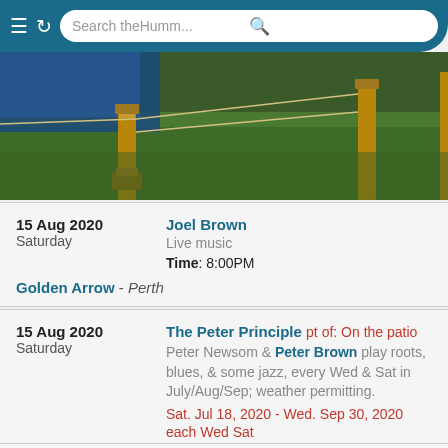Search theHumm...
[Figure (photo): Outdoor photo showing wooden fence posts in grass with ropes and a blue tarp in the background]
15 Aug 2020
Saturday
Joel Brown
Live music
Time: 8:00PM
Golden Arrow - Perth
15 Aug 2020
Saturday
The Peter Principle pt of: On the patio
Peter Newsom & Peter Brown play roots, blues, & some jazz, every Wed & Sat in July/Aug/Sep; weather permitting.
Sat. Jul 18, 2020 - Wed. Sep 30, 2020
each Wed Sat
Time: 5:00PM - 20:00
Waterfront Gastropub - Carleton Place